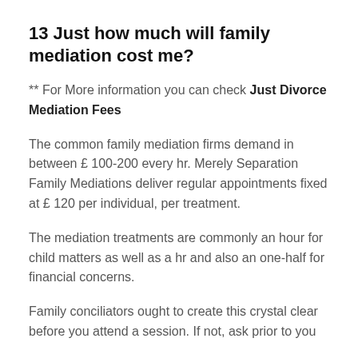13 Just how much will family mediation cost me?
** For More information you can check Just Divorce Mediation Fees
The common family mediation firms demand in between £ 100-200 every hr. Merely Separation Family Mediations deliver regular appointments fixed at £ 120 per individual, per treatment.
The mediation treatments are commonly an hour for child matters as well as a hr and also an one-half for financial concerns.
Family conciliators ought to create this crystal clear before you attend a session. If not, ask prior to you